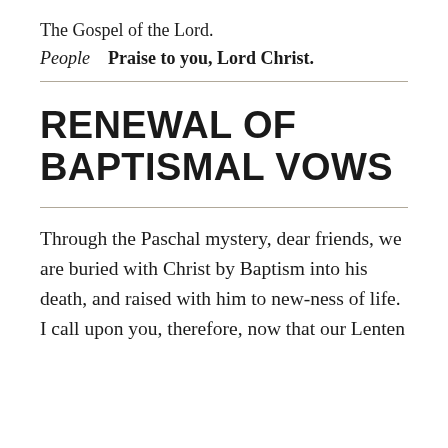The Gospel of the Lord.
People   Praise to you, Lord Christ.
RENEWAL OF BAPTISMAL VOWS
Through the Paschal mystery, dear friends, we are buried with Christ by Baptism into his death, and raised with him to new-ness of life. I call upon you, therefore, now that our Lenten